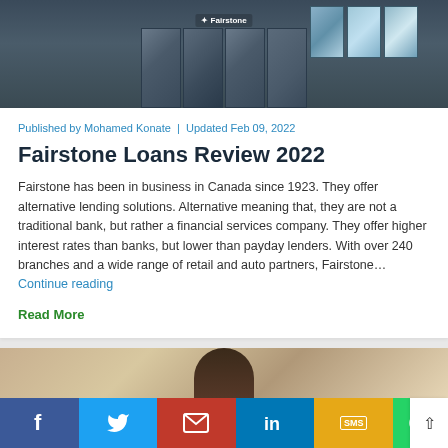[Figure (photo): Fairstone storefront with glass doors and windows]
Published by Mohamed Konate | Updated Feb 09, 2022
Fairstone Loans Review 2022
Fairstone has been in business in Canada since 1923. They offer alternative lending solutions. Alternative meaning that, they are not a traditional bank, but rather a financial services company. They offer higher interest rates than banks, but lower than payday lenders. With over 240 branches and a wide range of retail and auto partners, Fairstone… Continue reading
Read More
[Figure (photo): Person with eyes closed in a cafe or restaurant setting]
[Figure (infographic): Social media share bar with Facebook, Twitter, Email, LinkedIn, SMS, WhatsApp buttons]